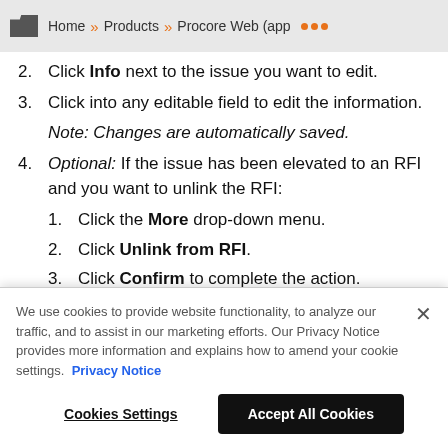Home » Products » Procore Web (app ···
2. Click Info next to the issue you want to edit.
3. Click into any editable field to edit the information.
Note: Changes are automatically saved.
4. Optional: If the issue has been elevated to an RFI and you want to unlink the RFI:
1. Click the More drop-down menu.
2. Click Unlink from RFI.
3. Click Confirm to complete the action.
Note: Unlinking the RFI will change the status of the
We use cookies to provide website functionality, to analyze our traffic, and to assist in our marketing efforts. Our Privacy Notice provides more information and explains how to amend your cookie settings. Privacy Notice
Cookies Settings
Accept All Cookies